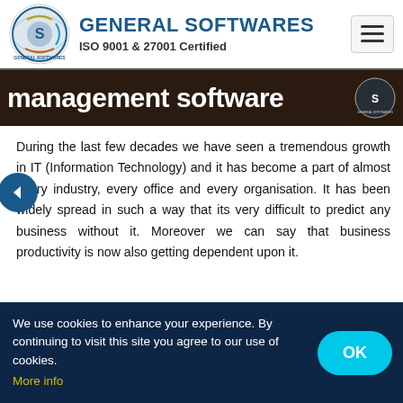GENERAL SOFTWARES ISO 9001 & 27001 Certified
[Figure (screenshot): Website header with General Softwares logo, brand name, ISO certification text, and hamburger menu icon]
management software
During the last few decades we have seen a tremendous growth in IT (Information Technology) and it has become a part of almost every industry, every office and every organisation. It has been widely spread in such a way that its very difficult to predict any business without it. Moreover we can say that business productivity is now also getting dependent upon it.
We use cookies to enhance your experience. By continuing to visit this site you agree to our use of cookies. More info